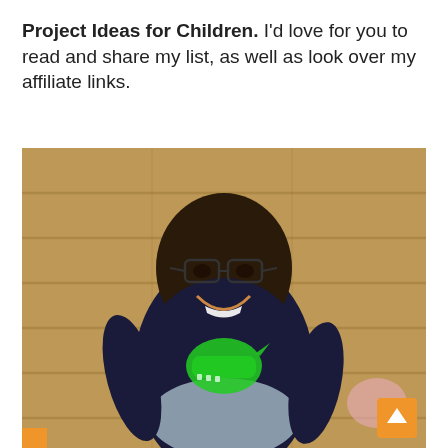Project Ideas for Children. I'd love for you to read and share my list, as well as look over my affiliate links.
[Figure (photo): A young boy wearing glasses and a dark navy long-sleeve shirt with a green dinosaur graphic, sitting on wooden deck boards and smiling.]